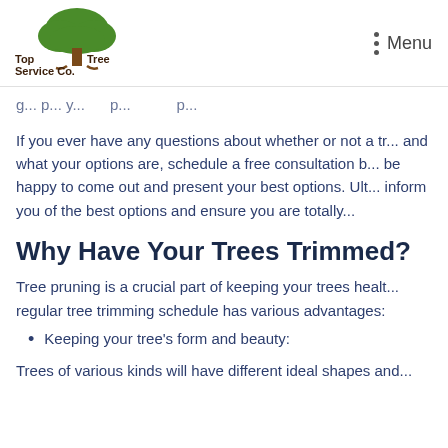[Figure (logo): Top Tree Service Co. logo with green tree illustration and brown text]
Menu
g... p... y... p... p...
If you ever have any questions about whether or not a tr... and what your options are, schedule a free consultation b... be happy to come out and present your best options. Ult... inform you of the best options and ensure you are totally...
Why Have Your Trees Trimmed?
Tree pruning is a crucial part of keeping your trees healt... regular tree trimming schedule has various advantages:
Keeping your tree's form and beauty:
Trees of various kinds will have different ideal shapes and...